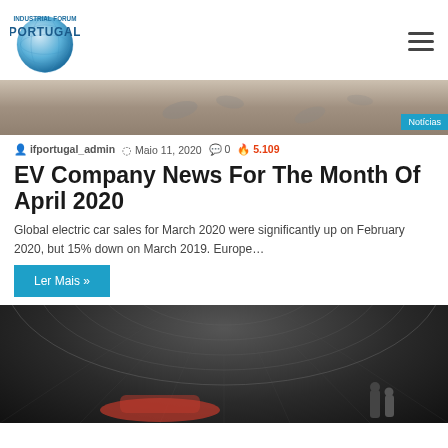Industrial Forum Portugal
[Figure (photo): Sandy ground with footprints, partially visible at top of page. 'Notícias' badge in bottom right.]
ifportugal_admin  Maio 11, 2020  0  5.109
EV Company News For The Month Of April 2020
Global electric car sales for March 2020 were significantly up on February 2020, but 15% down on March 2019. Europe…
Ler Mais »
[Figure (photo): Dark interior architectural image showing curved ceiling with circular patterns, a car and people visible at the bottom.]